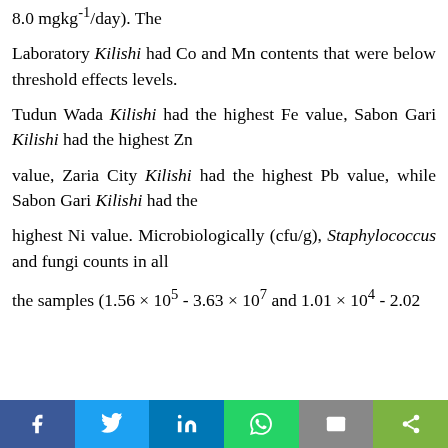8.0 mgkg-1/day). The
Laboratory Kilishi had Co and Mn contents that were below threshold effects levels.
Tudun Wada Kilishi had the highest Fe value, Sabon Gari Kilishi had the highest Zn
value, Zaria City Kilishi had the highest Pb value, while Sabon Gari Kilishi had the
highest Ni value. Microbiologically (cfu/g), Staphylococcus and fungi counts in all
the samples (1.56 × 105 - 3.63 × 107 and 1.01 × 104 - 2.02